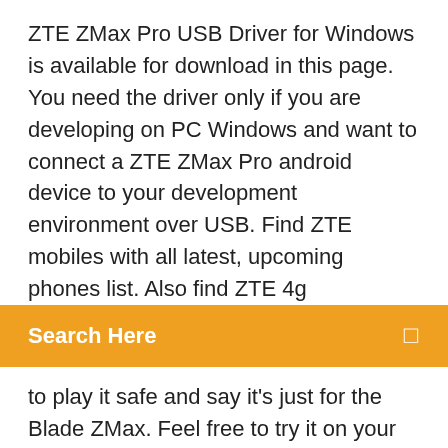ZTE ZMax Pro USB Driver for Windows is available for download in this page. You need the driver only if you are developing on PC Windows and want to connect a ZTE ZMax Pro android device to your development environment over USB. Find ZTE mobiles with all latest, upcoming phones list. Also find ZTE 4g
[Figure (screenshot): Orange search bar with text 'Search Here' and a search icon on the right]
to play it safe and say it's just for the Blade ZMax. Feel free to try it on your ZTE phone. Links Download the apps: ZTE Blade Z Max review - YouTubehttps://youtube.com/watch4. 10. 2017382 tis. zhlédnutiBuy at MetroPCS ($99): http://fave.co/2y0OkG1 | For under $150 the ZTE Blade Z Max delivers a few features typically reserved for more expensive phones, likeZTE Zmax - User opinions and reviews - page 12https://gsmarena.com/zte-zmax-reviews-6697p12.phpGSMArena.com: ZTE Zmax user opinions and reviews - page 12 There are many new features